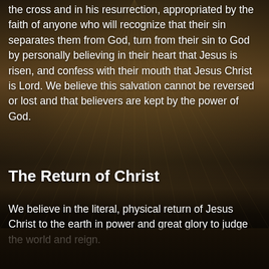the cross and in his resurrection, appropriated by the faith of anyone who will recognize that their sin separates them from God, turn from their sin to God by personally believing in their heart that Jesus is risen, and confess with their mouth that Jesus Christ is Lord. We believe this salvation cannot be reversed or lost and that believers are kept by the power of God.
The Return of Christ
We believe in the literal, physical return of Jesus Christ to the earth in power and great glory to judge the world and reign.